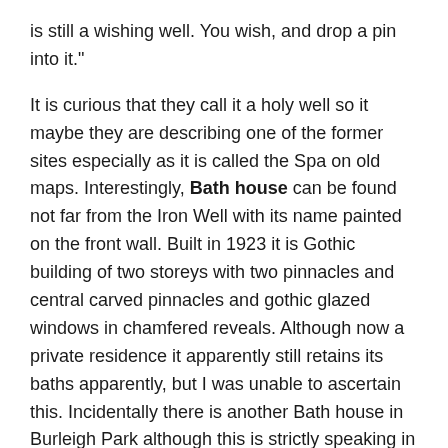is still a wishing well. You wish, and drop a pin into it."
It is curious that they call it a holy well so it maybe they are describing one of the former sites especially as it is called the Spa on old maps. Interestingly, Bath house can be found not far from the Iron Well with its name painted on the front wall. Built in 1923 it is Gothic building of two storeys with two pinnacles and central carved pinnacles and gothic glazed windows in chamfered reveals. Although now a private residence it apparently still retains its baths apparently, but I was unable to ascertain this. Incidentally there is another Bath house in Burleigh Park although this is strictly speaking in Northamptonshire and beyond this volume. Burleigh Park also boasted a chalybeate spring or Spa. Thomas Short's 1734 Short The Natural Experimental, and Medicinal History of the Mineral Waters